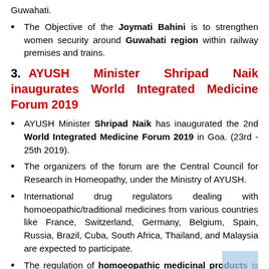Guwahati.
The Objective of the Joymati Bahini is to strengthen women security around Guwahati region within railway premises and trains.
3. AYUSH Minister Shripad Naik inaugurates World Integrated Medicine Forum 2019
AYUSH Minister Shripad Naik has inaugurated the 2nd World Integrated Medicine Forum 2019 in Goa. (23rd - 25th 2019).
The organizers of the forum are the Central Council for Research in Homeopathy, under the Ministry of AYUSH.
International drug regulators dealing with homoeopathic/traditional medicines from various countries like France, Switzerland, Germany, Belgium, Spain, Russia, Brazil, Cuba, South Africa, Thailand, and Malaysia are expected to participate.
The regulation of homoeopathic medicinal products is highly variable worldwide.
The forum will explore and illustrate the potential benefits and pitfalls of bilateral and multilateral collaboration and advance global cooperation on a